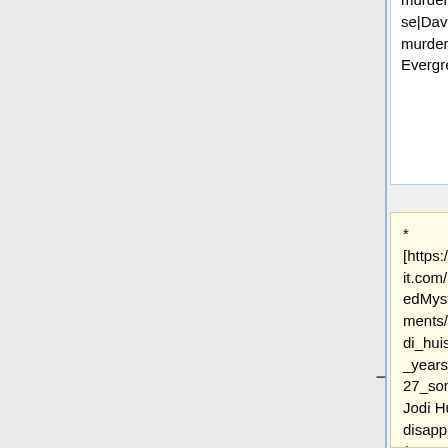murder#davidchase|David Chase murder]] (1995, Evergreen CO)
murder#davidchase|David Chase murder]] (1995, Evergreen CO)
* [https://www.reddit.com/r/UnresolvedMysteries/comments/h7k317/jodi_huisentruit_25_years_on_june_27_someone/ Jodi Huisentruit disappearance] (1995, Mason City IA)
* [https://www.reddit.com/r/UnresolvedMysteries/comments/h7k317/jodi_huisentruit_25_years_on_june_27_someone/ Jodi Huisentruit] [https://www.nwestiowa.com/opinion/kooiker-disappearance-of-huisentruit-remains-troubling/article_2f7fbefc-cc7c-11e6-ba1c-